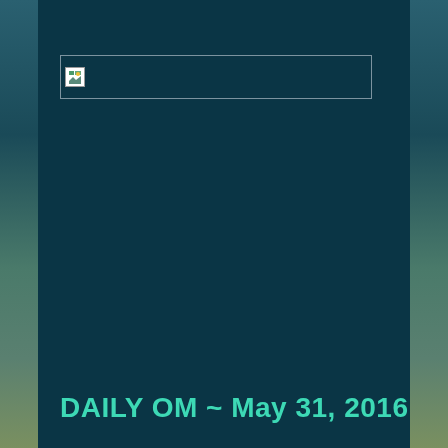[Figure (other): Broken/missing image placeholder with white border box in upper area of dark teal panel]
DAILY OM ~ May 31, 2016